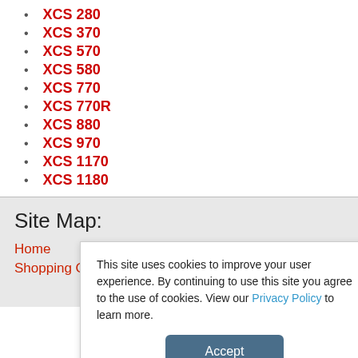XCS 280
XCS 370
XCS 570
XCS 580
XCS 770
XCS 770R
XCS 880
XCS 970
XCS 1170
XCS 1180
Site Map:
Home
Shopping Cart
This site uses cookies to improve your user experience. By continuing to use this site you agree to the use of cookies. View our Privacy Policy to learn more.